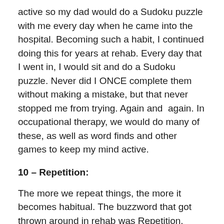active so my dad would do a Sudoku puzzle with me every day when he came into the hospital. Becoming such a habit, I continued doing this for years at rehab. Every day that I went in, I would sit and do a Sudoku puzzle. Never did I ONCE complete them without making a mistake, but that never stopped me from trying. Again and again. In occupational therapy, we would do many of these, as well as word finds and other games to keep my mind active.
10 – Repetition:
The more we repeat things, the more it becomes habitual. The buzzword that got thrown around in rehab was Repetition. Repetition, Repetition, Repetition.
Repetition has been the mother skill of my whole recovery. Every new movement we do, or new thought we have, will create a new neural pathway in our brain. The more we